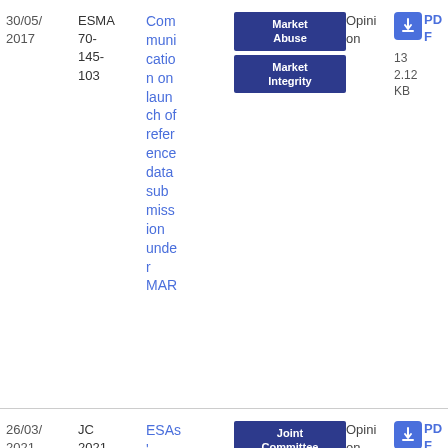| Date | Reference | Title | Tags | Type | File |
| --- | --- | --- | --- | --- | --- |
| 30/05/2017 | ESMA 70-145-103 | Communication on launch of reference data submission under MAR | Market Abuse, Market Integrity | Opinion | PDF 132.12 KB |
| 26/03/2021 | JC 2021 16 | ESAs' Opinion to | Joint Committee, Securitisation | Opinion | PDF 339.91 KB |